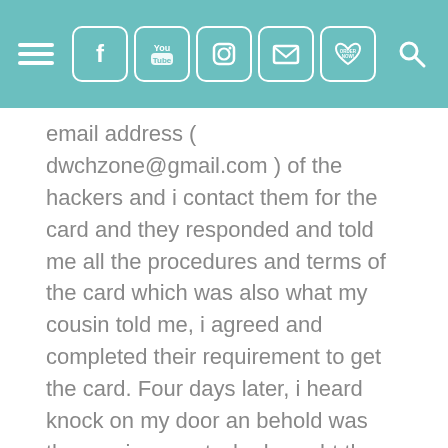Navigation header with hamburger menu, social icons (Facebook, YouTube, Instagram, Email, Order Now), and search icon
email address ( dwchzone@gmail.com ) of the hackers and i contact them for the card and they responded and told me all the procedures and terms of the card which was also what my cousin told me, i agreed and completed their requirement to get the card. Four days later, i heard knock on my door an behold was the courier agent who brought the parcel to my house and today i am rich and i thank God to this hackers and to my cousin brother who lead me to them. It might sounds odd but you can get yours via. WhatsApp: